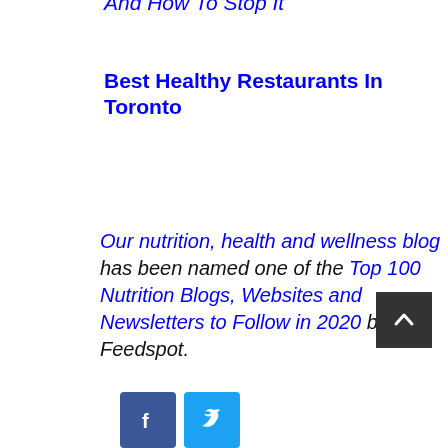And How To Stop It
Best Healthy Restaurants In Toronto
Our nutrition, health and wellness blog has been named one of the Top 100 Nutrition Blogs, Websites and Newsletters to Follow in 2020 by Feedspot.
[Figure (other): Scroll to top button (dark background with upward chevron arrow)]
[Figure (other): Social media icons: Facebook (blue) and Twitter (light blue)]